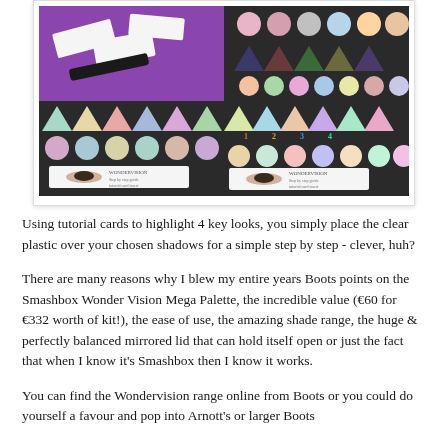[Figure (photo): Four-panel collage of Smashbox Wonder Vision Mega Palette product photos showing eyeshadow palettes with triangular pans in various colors, tutorial cards, false lashes, and pink/purple backgrounds]
Using tutorial cards to highlight 4 key looks, you simply place the clear plastic over your chosen shadows for a simple step by step - clever, huh?
There are many reasons why I blew my entire years Boots points on the Smashbox Wonder Vision Mega Palette, the incredible value (€60 for €332 worth of kit!), the ease of use, the amazing shade range, the huge & perfectly balanced mirrored lid that can hold itself open or just the fact that when I know it's Smashbox then I know it works.
You can find the Wondervision range online from Boots or you could do yourself a favour and pop into Arnott's or larger Boots